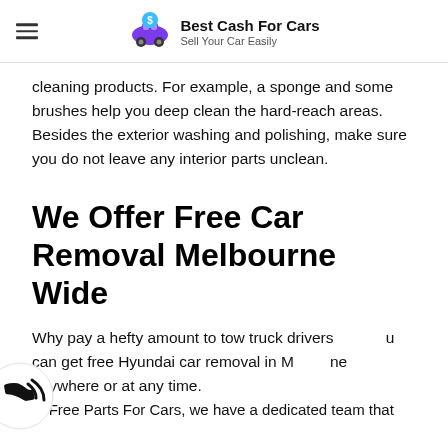Best Cash For Cars — Sell Your Car Easily
cleaning products. For example, a sponge and some brushes help you deep clean the hard-reach areas. Besides the exterior washing and polishing, make sure you do not leave any interior parts unclean.
We Offer Free Car Removal Melbourne Wide
Why pay a hefty amount to tow truck drivers when you can get free Hyundai car removal in Melbourne anywhere or at any time.
In Free Parts For Cars, we have a dedicated team that...